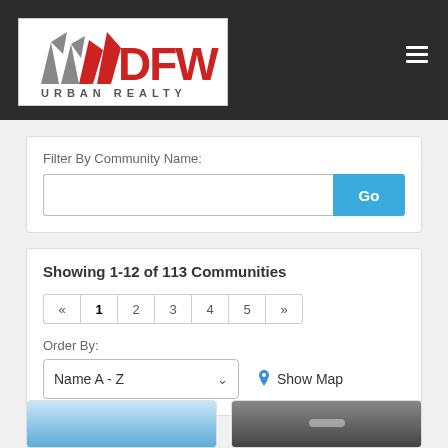[Figure (logo): DFW Urban Realty logo — stylized red and grey flag-like shapes with bold red 'DFW' text and grey 'URBAN REALTY' text below]
Filter By Community Name:
Go
Showing 1-12 of 113 Communities
« 1 2 3 4 5 »
Order By:
Name A - Z
Show Map
[Figure (photo): Light blue sky photo]
[Figure (photo): Dark grey/black image with faint shapes]